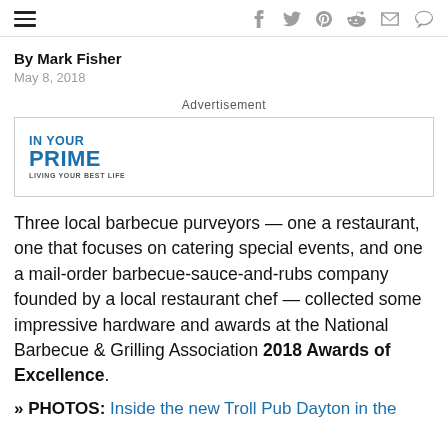[hamburger menu] [social icons: facebook, twitter, pinterest, reddit, email, comment]
By Mark Fisher
May 8, 2018
Advertisement
[Figure (logo): IN YOUR PRIME — LIVING YOUR BEST LIFE advertisement logo]
Three local barbecue purveyors — one a restaurant, one that focuses on catering special events, and one a mail-order barbecue-sauce-and-rubs company founded by a local restaurant chef — collected some impressive hardware and awards at the National Barbecue & Grilling Association 2018 Awards of Excellence.
>> PHOTOS: Inside the new Troll Pub Dayton in the